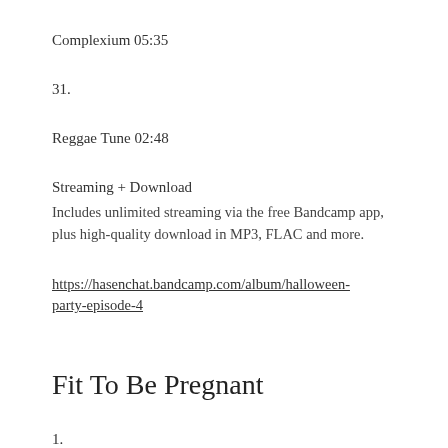Complexium 05:35
31.
Reggae Tune 02:48
Streaming + Download
Includes unlimited streaming via the free Bandcamp app, plus high-quality download in MP3, FLAC and more.
https://hasenchat.bandcamp.com/album/halloween-party-episode-4
Fit To Be Pregnant
1.